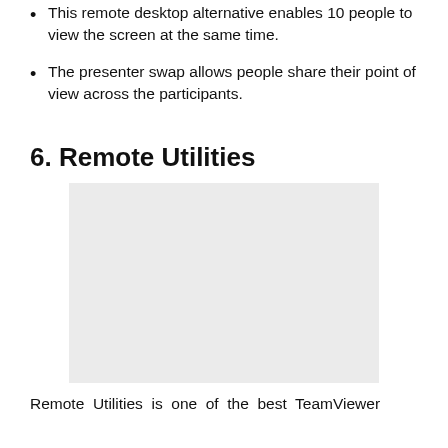This remote desktop alternative enables 10 people to view the screen at the same time.
The presenter swap allows people share their point of view across the participants.
6. Remote Utilities
[Figure (photo): A gray placeholder image for Remote Utilities screenshot]
Remote Utilities is one of the best TeamViewer